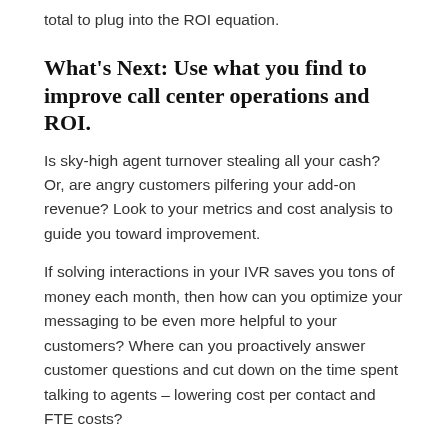total to plug into the ROI equation.
What's Next: Use what you find to improve call center operations and ROI.
Is sky-high agent turnover stealing all your cash? Or, are angry customers pilfering your add-on revenue? Look to your metrics and cost analysis to guide you toward improvement.
If solving interactions in your IVR saves you tons of money each month, then how can you optimize your messaging to be even more helpful to your customers? Where can you proactively answer customer questions and cut down on the time spent talking to agents – lowering cost per contact and FTE costs?